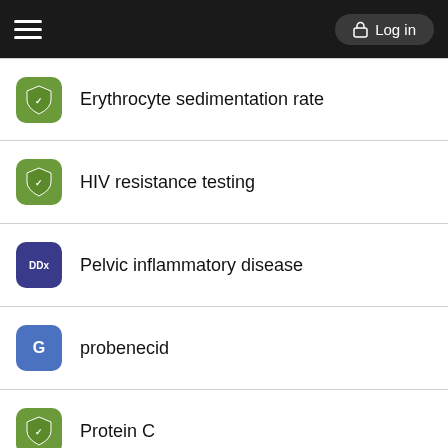Log in
Erythrocyte sedimentation rate
HIV resistance testing
Pelvic inflammatory disease
probenecid
Protein C
Salpingitis
Want to read the entire topic?
Purchase a subscription
I'm already a subscriber
Browse sample topics